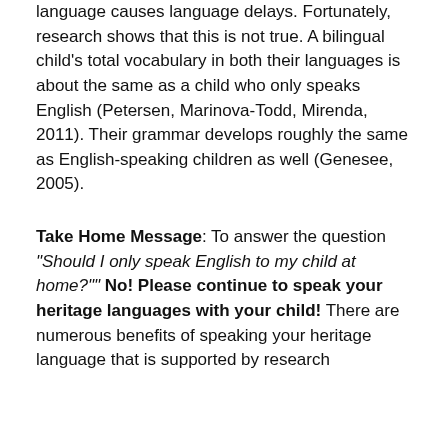language causes language delays. Fortunately, research shows that this is not true. A bilingual child's total vocabulary in both their languages is about the same as a child who only speaks English (Petersen, Marinova-Todd, Mirenda, 2011). Their grammar develops roughly the same as English-speaking children as well (Genesee, 2005).
Take Home Message: To answer the question "Should I only speak English to my child at home?"" No! Please continue to speak your heritage languages with your child! There are numerous benefits of speaking your heritage language that is supported by research